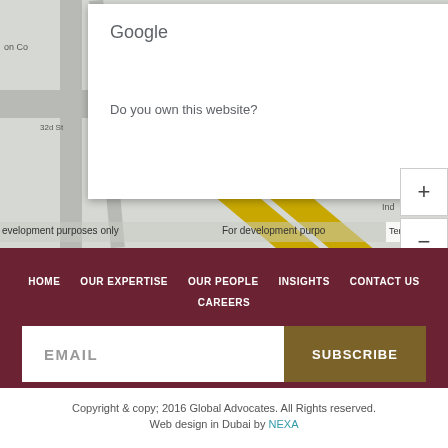[Figure (screenshot): Google Maps screenshot showing area near Sheikh Zayed Road, Dubai, with a popup dialog asking 'Do you own this website?' with an input box, zoom controls (+/-), and 'For development purposes only' watermark. Map shows Al Safadi Restaurant, Sheikh Zayed Road, The War Gym, and other landmarks.]
HOME
OUR EXPERTISE
OUR PEOPLE
INSIGHTS
CONTACT US
CAREERS
EMAIL
SUBSCRIBE
Copyright & copy; 2016 Global Advocates. All Rights Reserved.
Web design in Dubai by NEXA